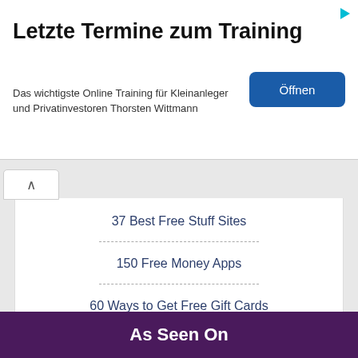[Figure (other): Advertisement banner for online training course by Thorsten Wittmann with title 'Letzte Termine zum Training', subtitle text, and a blue 'Öffnen' button]
37 Best Free Stuff Sites
150 Free Money Apps
60 Ways to Get Free Gift Cards
154 Places to Get Coupons
As Seen On